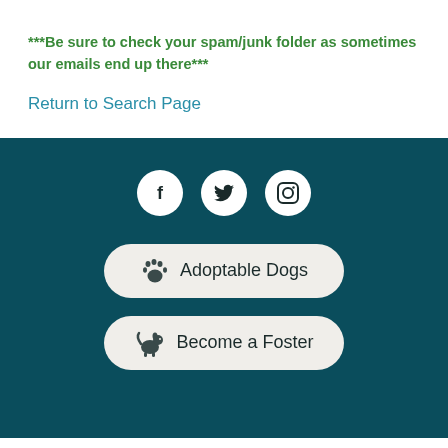***Be sure to check your spam/junk folder as sometimes our emails end up there***
Return to Search Page
[Figure (infographic): Dark teal footer section with Facebook, Twitter, and Instagram social media icons in white circles, followed by two pill-shaped buttons: 'Adoptable Dogs' (with paw icon) and 'Become a Foster' (with dog icon)]